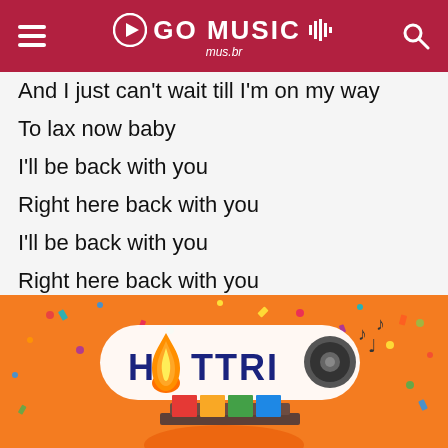GO MUSIC mus.br
And I just can't wait till I'm on my way
To lax now baby
I'll be back with you
Right here back with you
I'll be back with you
Right here back with you
[Figure (logo): HOTTRIO logo on orange festive background with confetti and carnival structure illustration]